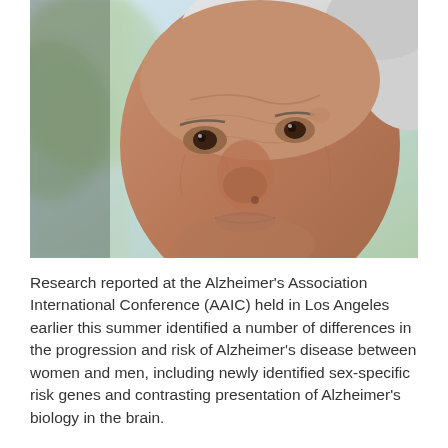[Figure (photo): Close-up photograph of an elderly person's face, showing aged skin with wrinkles, grey hair, and an expression suggesting distress or contemplation. Background is blurred greenery and sky.]
Research reported at the Alzheimer's Association International Conference (AAIC) held in Los Angeles earlier this summer identified a number of differences in the progression and risk of Alzheimer's disease between women and men, including newly identified sex-specific risk genes and contrasting presentation of Alzheimer's biology in the brain.